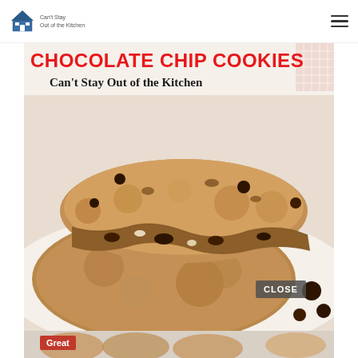Can't Stay Out of the Kitchen [logo + hamburger menu]
[Figure (photo): Close-up photo of chocolate chip cookies broken apart on a white plate, showing chocolate chips, pecans, and chewy interior. Overlaid with red bold text 'CHOCOLATE CHIP COOKIES' and black text 'Can't Stay Out of the Kitchen' at the top of the image. A 'CLOSE' button overlay appears at the bottom right of the image.]
Great